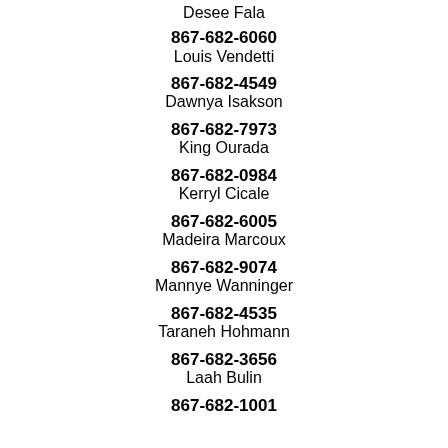Desee Fala
867-682-6060
Louis Vendetti
867-682-4549
Dawnya Isakson
867-682-7973
King Ourada
867-682-0984
Kerryl Cicale
867-682-6005
Madeira Marcoux
867-682-9074
Mannye Wanninger
867-682-4535
Taraneh Hohmann
867-682-3656
Laah Bulin
867-682-1001